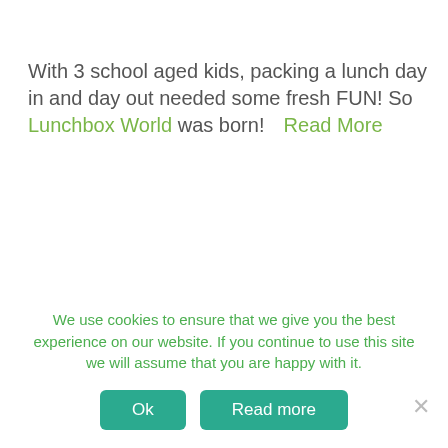With 3 school aged kids, packing a lunch day in and day out needed some fresh FUN! So Lunchbox World was born!   Read More
We use cookies to ensure that we give you the best experience on our website. If you continue to use this site we will assume that you are happy with it.